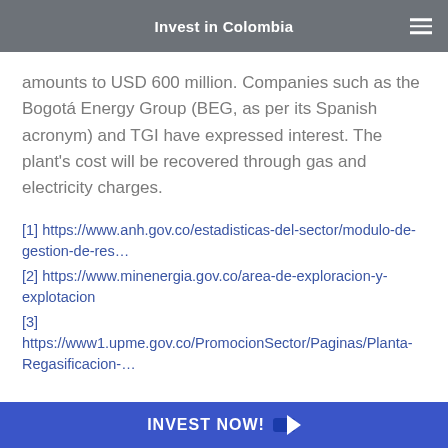Invest in Colombia
amounts to USD 600 million. Companies such as the Bogotá Energy Group (BEG, as per its Spanish acronym) and TGI have expressed interest. The plant's cost will be recovered through gas and electricity charges.
[1] https://www.anh.gov.co/estadisticas-del-sector/modulo-de-gestion-de-res…
[2] https://www.minenergia.gov.co/area-de-exploracion-y-explotacion
[3] https://www1.upme.gov.co/PromocionSector/Paginas/Planta-Regasificacion-…
INVEST NOW!